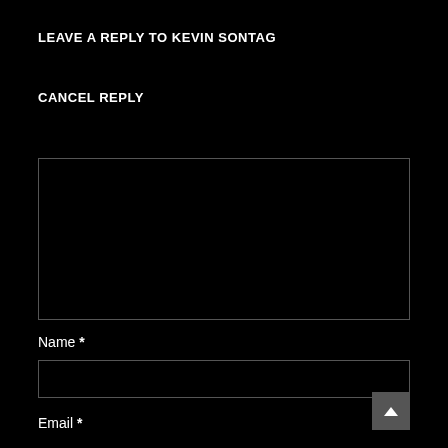LEAVE A REPLY TO KEVIN SONTAG
CANCEL REPLY
[Figure (other): Comment textarea input box, dark background with light border]
Name *
[Figure (other): Name text input field, dark background with light border]
Email *